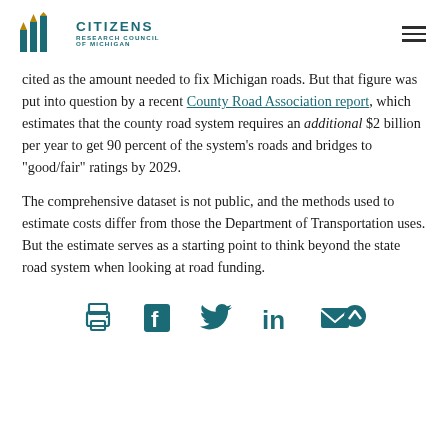Citizens Research Council of Michigan
cited as the amount needed to fix Michigan roads. But that figure was put into question by a recent County Road Association report, which estimates that the county road system requires an additional $2 billion per year to get 90 percent of the system's roads and bridges to "good/fair" ratings by 2029.
The comprehensive dataset is not public, and the methods used to estimate costs differ from those the Department of Transportation uses. But the estimate serves as a starting point to think beyond the state road system when looking at road funding.
[Figure (other): Social sharing icons: print, Facebook, Twitter, LinkedIn, email with scroll-to-top button]